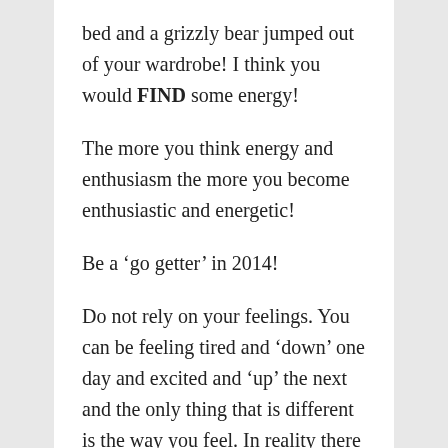bed and a grizzly bear jumped out of your wardrobe! I think you would FIND some energy!
The more you think energy and enthusiasm the more you become enthusiastic and energetic!
Be a ‘go getter’ in 2014!
Do not rely on your feelings. You can be feeling tired and ‘down’ one day and excited and ‘up’ the next and the only thing that is different is the way you feel. In reality there are the same